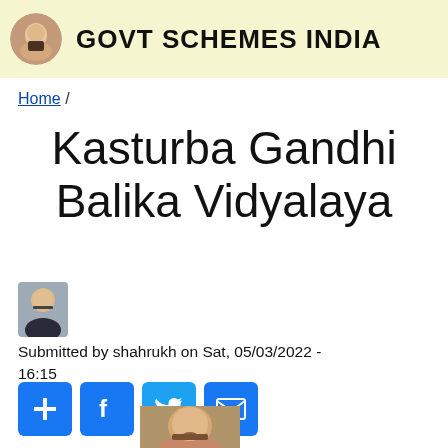GOVT SCHEMES INDIA
Home /
Kasturba Gandhi Balika Vidyalaya
Submitted by shahrukh on Sat, 05/03/2022 - 16:15
[Figure (other): Social share buttons: add, Facebook, Twitter, email]
[Figure (photo): Photo of a person (Modi) at bottom of page]